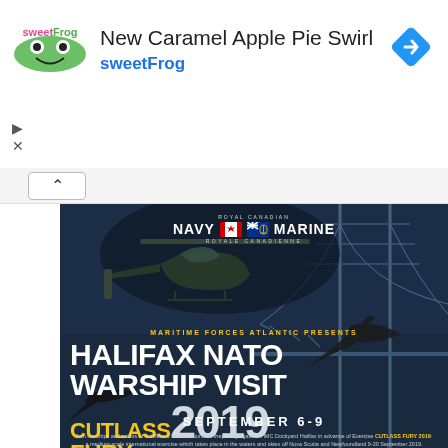[Figure (screenshot): Advertisement banner for sweetFrog 'New Caramel Apple Pie Swirl' with sweetFrog logo, navigation arrow icon, and play/close controls]
[Figure (photo): Event poster for Halifax NATO Warship Visit - Cutlass Fury 2019, September 6-9, hosted by Maritime Forces Atlantic / Royal Canadian Navy. Dark blue background with helicopter, jet aircraft silhouette, and bridge imagery.]